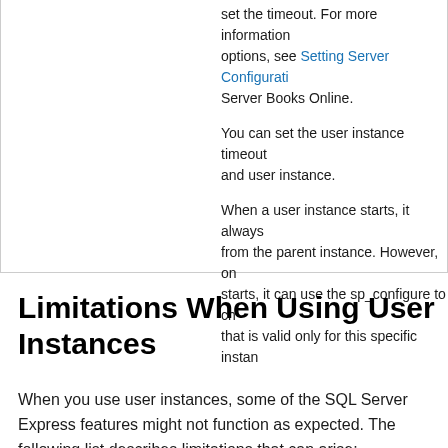set the timeout. For more information options, see Setting Server Configuration Server Books Online.
You can set the user instance timeout and user instance.
When a user instance starts, it always from the parent instance. However, on starts, it can use the sp_configure to ch that is valid only for this specific instan
Limitations When Using User Instances
When you use user instances, some of the SQL Server Express features might not function as expected. The following list describes limitations that can arise: